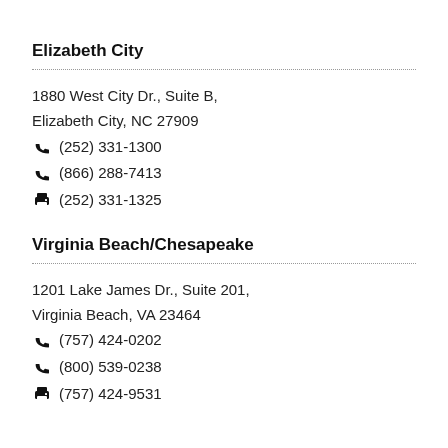Elizabeth City
1880 West City Dr., Suite B,
Elizabeth City, NC 27909
☎ (252) 331-1300
☎ (866) 288-7413
🖨 (252) 331-1325
Virginia Beach/Chesapeake
1201 Lake James Dr., Suite 201,
Virginia Beach, VA 23464
☎ (757) 424-0202
☎ (800) 539-0238
🖨 (757) 424-9531